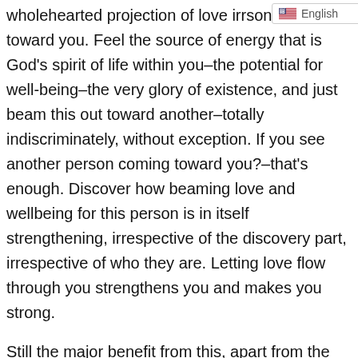English
wholehearted projection of love irr… person is coming toward you. Feel the source of energy that is God's spirit of life within you–the potential for well-being–the very glory of existence, and just beam this out toward another–totally indiscriminately, without exception. If you see another person coming toward you?–that's enough. Discover how beaming love and wellbeing for this person is in itself strengthening, irrespective of the discovery part, irrespective of who they are. Letting love flow through you strengthens you and makes you strong.
Still the major benefit from this, apart from the inner strengthening, is the discovery part. So many of you who have tried this began to notice an emergence of individuality. This is